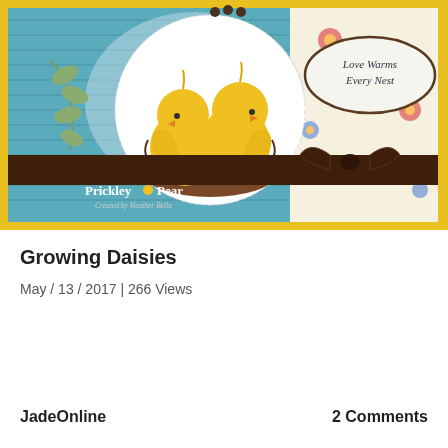[Figure (photo): A handmade greeting card featuring two yellow baby chicks sitting in a brown nest, placed on a circular white background. The card has a teal/blue denim-patterned background, floral patterned paper on the right, a brown grosgrain ribbon across the middle tied in a bow, a floral branch embellishment on the left, and an oval label reading 'Love Warms Every Nest'. The card is bordered in yellow. The Prickley Pear logo and 'Created by Heather Bella' text appear in the lower left.]
Growing Daisies
May / 13 / 2017 | 266 Views
JadeOnline
2 Comments